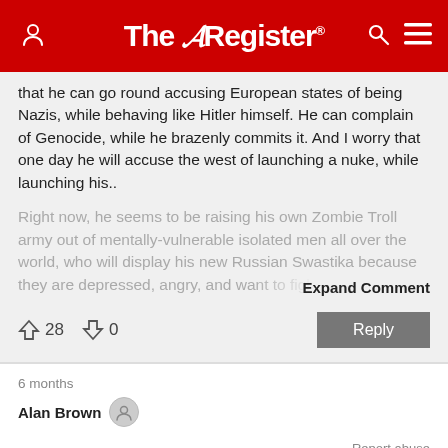The Register
that he can go round accusing European states of being Nazis, while behaving like Hitler himself. He can complain of Genocide, while he brazenly commits it. And I worry that one day he will accuse the west of launching a nuke, while launching his..
Right now, he seems to be raising his own Zombie Troll army out of mentally-vulnerable isolated men all over the world, who will display his new Russian Swastika because they are depressed, angry, and want to fight someone... Expand Comment
↑28  ↓0   Reply
6 months
Alan Brown
Report abuse
Re: Modern-day nazis..